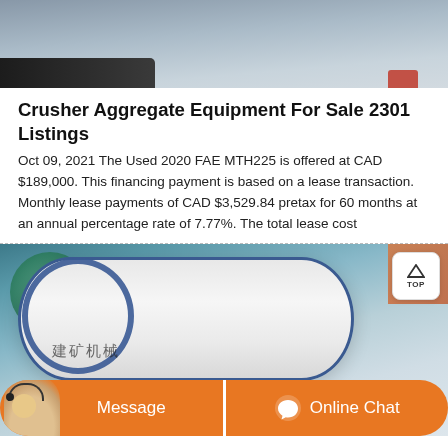[Figure (photo): Top partial photo of industrial/construction equipment, dark bar visible at bottom left]
Crusher Aggregate Equipment For Sale 2301 Listings
Oct 09, 2021 The Used 2020 FAE MTH225 is offered at CAD $189,000. This financing payment is based on a lease transaction. Monthly lease payments of CAD $3,529.84 pretax for 60 months at an annual percentage rate of 7.77%. The total lease cost
[Figure (photo): Photo of industrial drum/roller equipment in a factory setting with Chinese text 建矿机械 visible. TOP button overlay visible at upper right. Message and Online Chat buttons at bottom.]